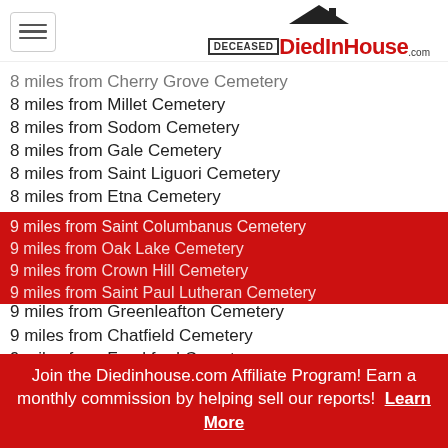DiedInHouse.com
8 miles from Cherry Grove Cemetery
8 miles from Millet Cemetery
8 miles from Sodom Cemetery
8 miles from Gale Cemetery
8 miles from Saint Liguori Cemetery
8 miles from Etna Cemetery
9 miles from Ostrander Cemetery
9 miles from Greenleafton South Cemetery
9 miles from Hamilton Cemetery
9 miles from Root Prairie Lutheran Cemetery
9 miles from Greenleafton Cemetery
9 miles from Chatfield Cemetery
9 miles from Frankford Cemetery
9 miles from Saint Columbanus Cemetery
9 miles from Oak Lake Cemetery
9 miles from Crown Hill Cemetery
9 miles from Saint Paul Lutheran Cemetery
Join the Diedinhouse.com Affiliate Program! Earn a monthly commission by helping sell our reports! Learn More